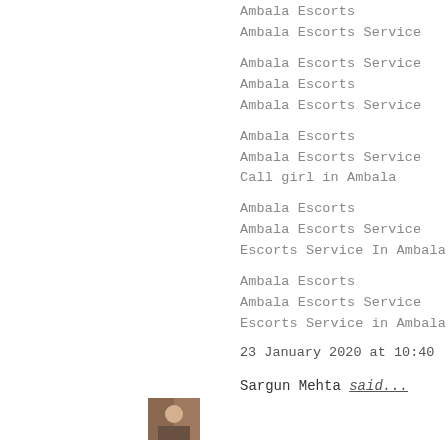Ambala Escorts
Ambala Escorts Service
Ambala Escorts Service
Ambala Escorts
Ambala Escorts Service
Ambala Escorts
Ambala Escorts Service
Call girl in Ambala
Ambala Escorts
Ambala Escorts Service
Escorts Service In Ambala
Ambala Escorts
Ambala Escorts Service
Escorts Service in Ambala
23 January 2020 at 10:40
Sargun Mehta said...
[Figure (photo): Small avatar/profile photo thumbnail]